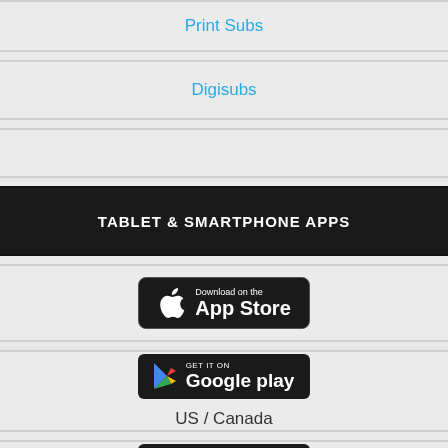Print Subs
Digisubs
TABLET & SMARTPHONE APPS
[Figure (logo): Download on the App Store button (Apple)]
[Figure (logo): GET IT ON Google Play button for US / Canada]
US / Canada
[Figure (logo): GET IT ON Google Play button for UK / Australia]
UK / Australia